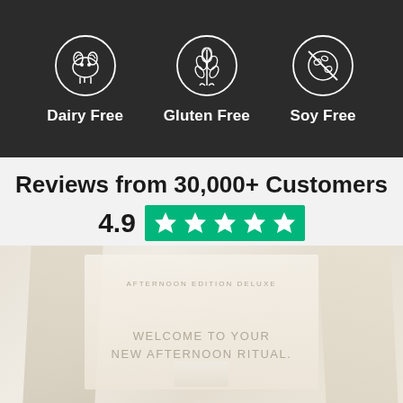[Figure (illustration): Three circular icons on dark background: Dairy Free (cow icon), Gluten Free (wheat icon), Soy Free (soy icon), each with white line art]
Dairy Free
Gluten Free
Soy Free
Reviews from 30,000+ Customers
[Figure (infographic): Rating display showing 4.9 with green Trustpilot star rating box (5 stars), and text 'Based on reviews powered by Trustpilot']
[Figure (photo): Product packaging photo showing open box with text 'WELCOME TO YOUR NEW AFTERNOON RITUAL' on cream/beige background]